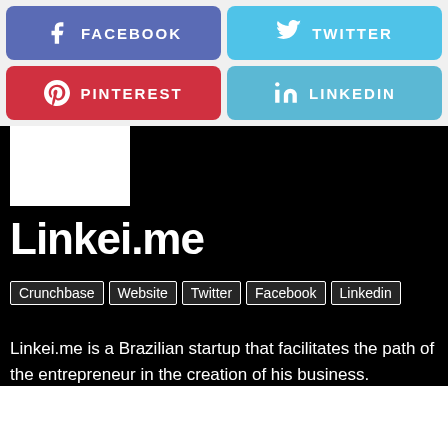[Figure (infographic): Four social media share buttons: Facebook (purple-blue), Twitter (light blue), Pinterest (red), LinkedIn (light blue), arranged in a 2x2 grid]
[Figure (logo): White rectangle placeholder for Linkei.me logo on black background]
Linkei.me
Crunchbase
Website
Twitter
Facebook
Linkedin
Linkei.me is a Brazilian startup that facilitates the path of the entrepreneur in the creation of his business.